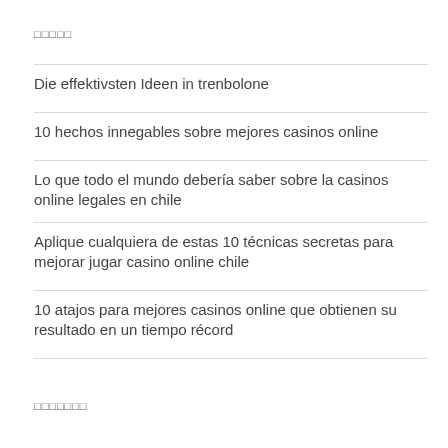□□□□□
Die effektivsten Ideen in trenbolone
10 hechos innegables sobre mejores casinos online
Lo que todo el mundo debería saber sobre la casinos online legales en chile
Aplique cualquiera de estas 10 técnicas secretas para mejorar jugar casino online chile
10 atajos para mejores casinos online que obtienen su resultado en un tiempo récord
□□□□□□□